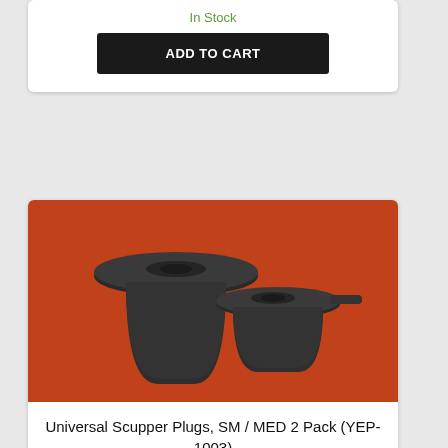In Stock
ADD TO CART
[Figure (photo): Two black rubber universal scupper plugs on an orange/red background. The left plug is larger (SM) and the right is smaller (MED), both showing a flat flange top and tapered cylindrical body.]
Universal Scupper Plugs, SM / MED 2 Pack (YEP-1003)
$10.00